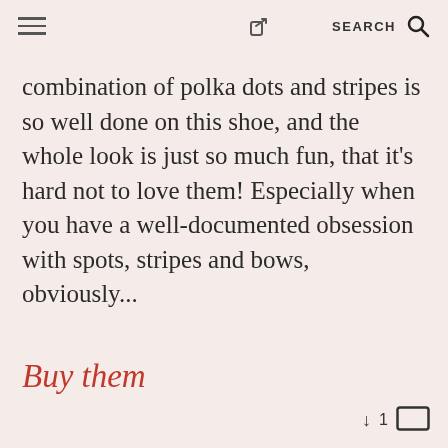≡  [share icon]  SEARCH  [search icon]
combination of polka dots and stripes is so well done on this shoe, and the whole look is just so much fun, that it's hard not to love them! Especially when you have a well-documented obsession with spots, stripes and bows, obviously...
Buy them
↓  1  [comment icon]